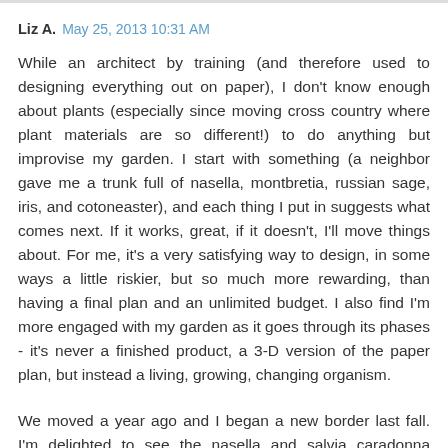Liz A.  May 25, 2013 10:31 AM
While an architect by training (and therefore used to designing everything out on paper), I don't know enough about plants (especially since moving cross country where plant materials are so different!) to do anything but improvise my garden. I start with something (a neighbor gave me a trunk full of nasella, montbretia, russian sage, iris, and cotoneaster), and each thing I put in suggests what comes next. If it works, great, if it doesn't, I'll move things about. For me, it's a very satisfying way to design, in some ways a little riskier, but so much more rewarding, than having a final plan and an unlimited budget. I also find I'm more engaged with my garden as it goes through its phases - it's never a finished product, a 3-D version of the paper plan, but instead a living, growing, changing organism.
We moved a year ago and I began a new border last fall. I'm delighted to see the nasella and salvia caradonna combination because I used it too. I hope mine will look half